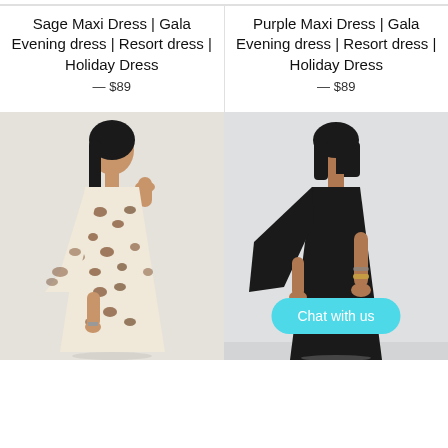Sage Maxi Dress | Gala Evening dress | Resort dress | Holiday Dress
— $89
Purple Maxi Dress | Gala Evening dress | Resort dress | Holiday Dress
— $89
[Figure (photo): Woman wearing a leopard print maxi dress, one-shoulder style, posing against a light grey background.]
[Figure (photo): Woman wearing a black one-shoulder maxi dress with statement necklace and bracelets, posing against a light grey background. A teal 'Chat with us' button overlays the bottom right.]